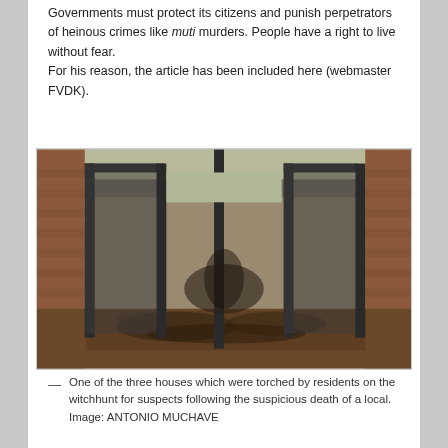Governments must protect its citizens and punish perpetrators of heinous crimes like muti murders. People have a right to live without fear.
For his reason, the article has been included here (webmaster FVDK).
[Figure (photo): Interior of a burned-out house showing charred walls, debris on the floor, and metal door frames. Brick walls visible on the sides.]
— One of the three houses which were torched by residents on the witchhunt for suspects following the suspicious death of a local.  Image: ANTONIO MUCHAVE